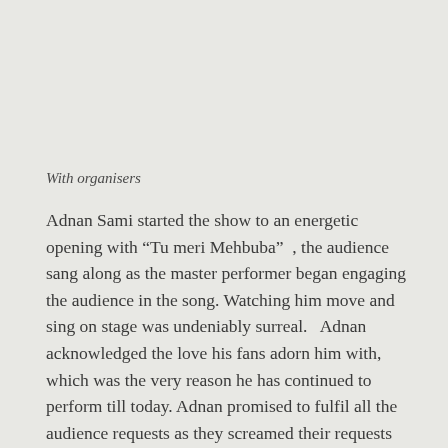With organisers
Adnan Sami started the show to an energetic opening with “Tu meri Mehbuba”  , the audience sang along as the master performer began engaging the audience in the song. Watching him move and sing on stage was undeniably surreal.   Adnan acknowledged the love his fans adorn him with, which was the very reason he has continued to perform till today. Adnan promised to fulfil all the audience requests as they screamed their requests from all corners of Sydney Town Hall to which he readily answered, “Yeh aap